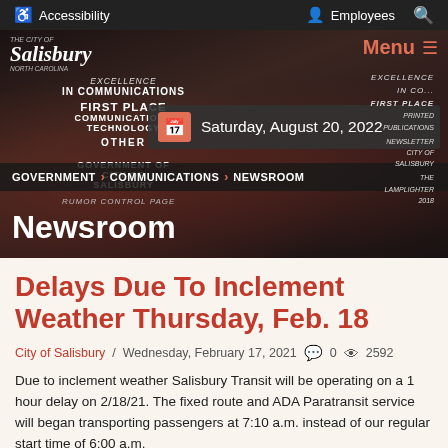Accessibility | Employees | Search
[Figure (photo): City of Salisbury website header with award trophies in background, Salisbury logo, Menu button, date badge showing Saturday August 20 2022, breadcrumb navigation GOVERNMENT > COMMUNICATIONS > NEWSROOM, and Newsroom title]
Delays Due To Inclement Weather Thursday, Feb. 18
City of Salisbury / Wednesday, February 17, 2021  0  2592
Due to inclement weather Salisbury Transit will be operating on a 1 hour delay on 2/18/21. The fixed route and ADA Paratransit service will began transporting passengers at 7:10 a.m. instead of our regular start time of 6:00 a.m.